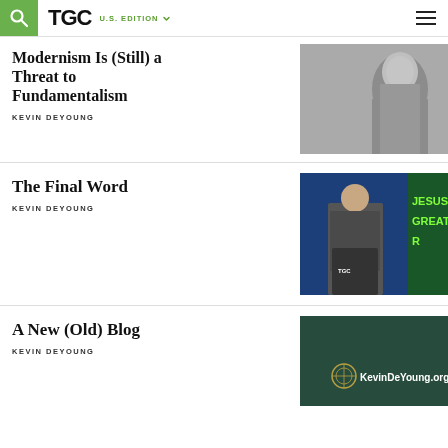TGC | U.S. EDITION
Modernism Is (Still) a Threat to Fundamentalism
KEVIN DEYOUNG
[Figure (photo): Black and white portrait photograph of a man in a suit]
The Final Word
KEVIN DEYOUNG
[Figure (photo): Photograph of a man in a suit speaking at a TGC podium with 'JESUS IS GREATER' sign in background]
A New (Old) Blog
KEVIN DEYOUNG
[Figure (photo): Dark teal background image with KevinDeYoung.org logo/text]